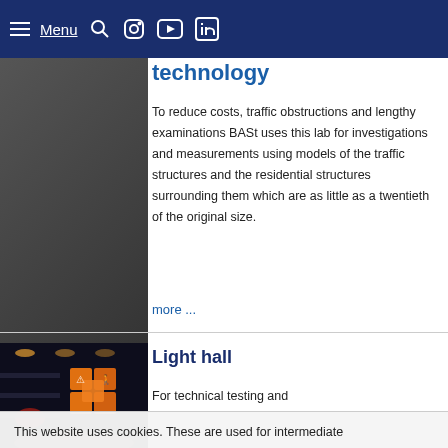Menu
technology
To reduce costs, traffic obstructions and lengthy examinations BASt uses this lab for investigations and measurements using models of the traffic structures and the residential structures surrounding them which are as little as a twentieth of the original size.
more ...
[Figure (photo): Warehouse interior at night with illuminated orange warning signs stacked in a dark hall]
Light hall
For technical testing and
This website uses cookies. These are used for intermediate